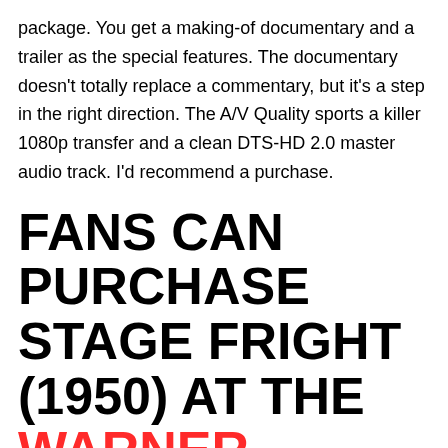package. You get a making-of documentary and a trailer as the special features. The documentary doesn't totally replace a commentary, but it's a step in the right direction. The A/V Quality sports a killer 1080p transfer and a clean DTS-HD 2.0 master audio track. I'd recommend a purchase.
FANS CAN PURCHASE STAGE FRIGHT (1950) AT THE WARNER ARCHIVE AMAZON STORE OR ONLINE RETAILERS WHERE